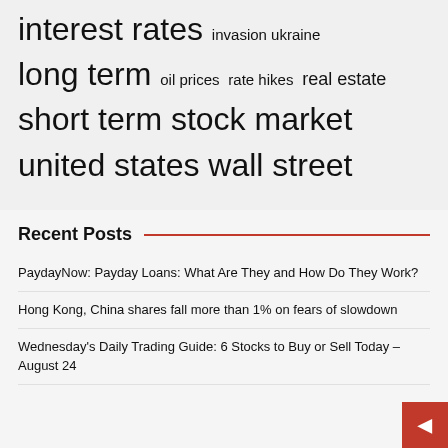[Figure (infographic): Tag cloud with finance-related terms in varying sizes: interest rates (large), invasion ukraine (medium), long term (large), oil prices (small), rate hikes (small), real estate (medium), short term (large), stock market (large), united states (large), wall street (large)]
Recent Posts
PaydayNow: Payday Loans: What Are They and How Do They Work?
Hong Kong, China shares fall more than 1% on fears of slowdown
Wednesday's Daily Trading Guide: 6 Stocks to Buy or Sell Today – August 24